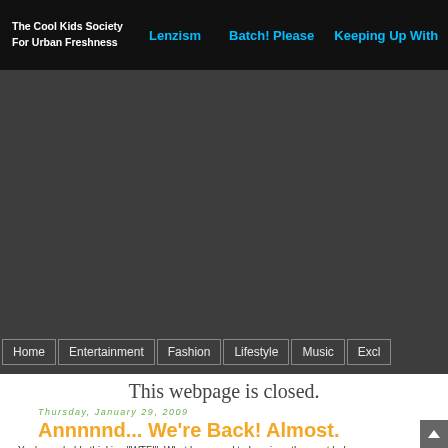The Cool Kids Society For Urban Freshness | Lenzism | Batch! Please | Keeping Up With
[Figure (other): Dark gray banner/header image area for The Cool Kids Society website]
Home | Entertainment | Fashion | Lifestyle | Music | Excl
This webpage is closed.
Thursday, January 29, 2009
Annnnnd... We're Back! Almost.
You're probably thinking,"WTF!". What happened to Lenzism, the most belo